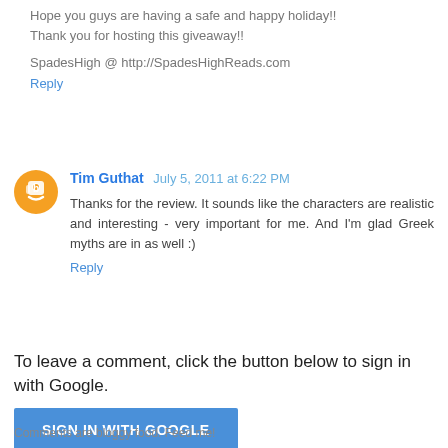Hope you guys are having a safe and happy holiday!! Thank you for hosting this giveaway!!
SpadesHigh @ http://SpadesHighReads.com
Reply
Tim Guthat July 5, 2011 at 6:22 PM
Thanks for the review. It sounds like the characters are realistic and interesting - very important for me. And I'm glad Greek myths are in as well :)
Reply
To leave a comment, click the button below to sign in with Google.
SIGN IN WITH GOOGLE
Comments are bloggy food. Feed me!